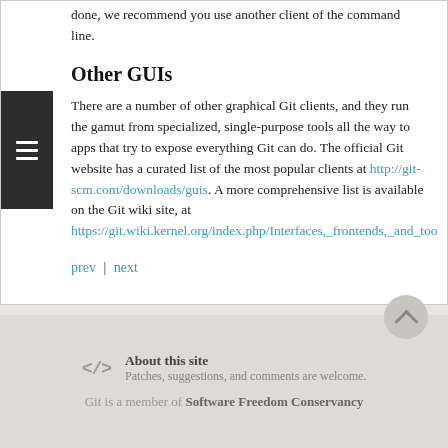done, we recommend you use another client of the command line.
Other GUIs
There are a number of other graphical Git clients, and they run the gamut from specialized, single-purpose tools all the way to apps that try to expose everything Git can do. The official Git website has a curated list of the most popular clients at http://git-scm.com/downloads/guis. A more comprehensive list is available on the Git wiki site, at https://git.wiki.kernel.org/index.php/Interfaces,_frontends,_and_too
prev | next
About this site
Patches, suggestions, and comments are welcome.
Git is a member of Software Freedom Conservancy